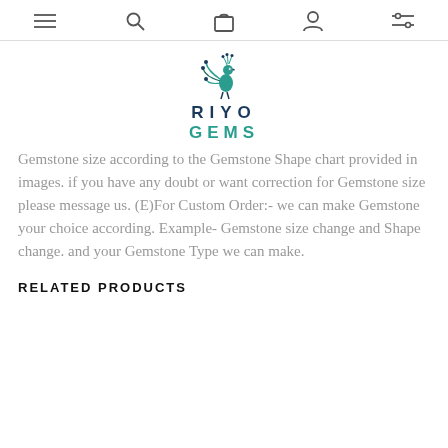navigation icons: menu, search, bag, account, filter
[Figure (logo): Riyo Gems logo with peacock illustration above text RIYO GEMS]
Gemstone size according to the Gemstone Shape chart provided in images. if you have any doubt or want correction for Gemstone size please message us. (E)For Custom Order:- we can make Gemstone your choice according. Example- Gemstone size change and Shape change. and your Gemstone Type we can make.
RELATED PRODUCTS